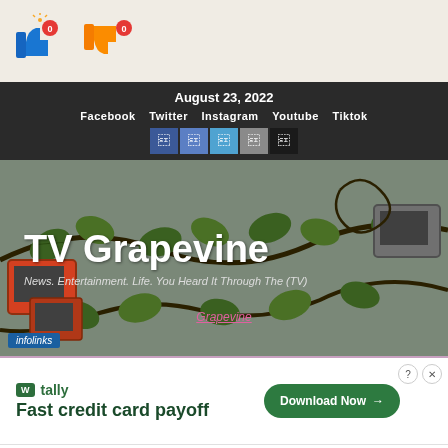[Figure (illustration): Thumbs up and thumbs down icons with red notification badges showing 0]
August 23, 2022
Facebook  Twitter  Instagram  Youtube  Tiktok
[Figure (illustration): TV Grapevine website hero banner with grapevine illustration and vintage TV sets. Title: TV Grapevine. Subtitle: News. Entertainment. Life. You Heard It Through The (TV)]
[Figure (screenshot): Tally advertisement: Fast credit card payoff. Download Now button.]